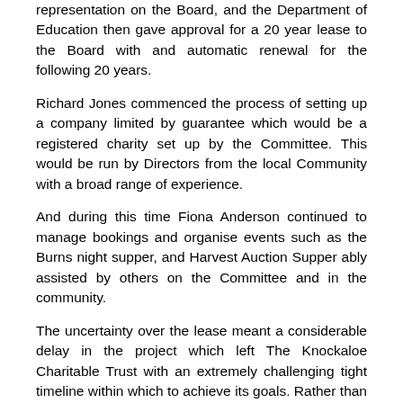representation on the Board, and the Department of Education then gave approval for a 20 year lease to the Board with and automatic renewal for the following 20 years.
Richard Jones commenced the process of setting up a company limited by guarantee which would be a registered charity set up by the Committee. This would be run by Directors from the local Community with a broad range of experience.
And during this time Fiona Anderson continued to manage bookings and organise events such as the Burns night supper, and Harvest Auction Supper ably assisted by others on the Committee and in the community.
The uncertainty over the lease meant a considerable delay in the project which left The Knockaloe Charitable Trust with an extremely challenging tight timeline within which to achieve its goals. Rather than opening in 2014, the centenary of the start of WW1, instead they were only able to launch the www.Knockaloe.im website and Facebook page,100 years to the day from the initial camp opening on 17 November 1914. However, this allowed Descendants to start to get in contact